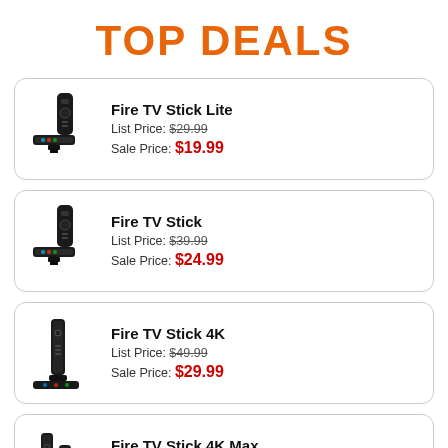TOP DEALS
Fire TV Stick Lite | List Price: $29.99 | Sale Price: $19.99
Fire TV Stick | List Price: $39.99 | Sale Price: $24.99
Fire TV Stick 4K | List Price: $49.99 | Sale Price: $29.99
Fire TV Stick 4K Max | List Price: $54.99 | Sale Price: $39.99